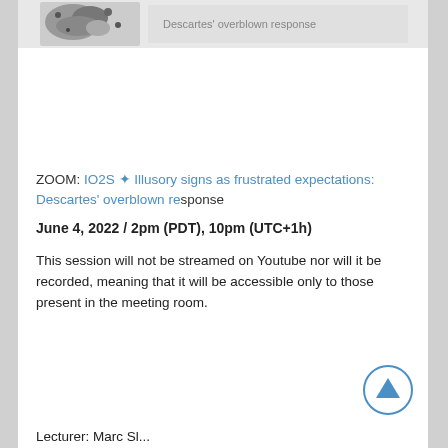[Figure (photo): Partial image strip at top of page showing black and white photo elements and text 'Descartes overblown response']
ZOOM: IO2S ✦ Illusory signs as frustrated expectations: Descartes' overblown response
June 4, 2022 / 2pm (PDT), 10pm (UTC+1h)
This session will not be streamed on Youtube nor will it be recorded, meaning that it will be accessible only to those present in the meeting room.
Lecturer: Marc Sl...